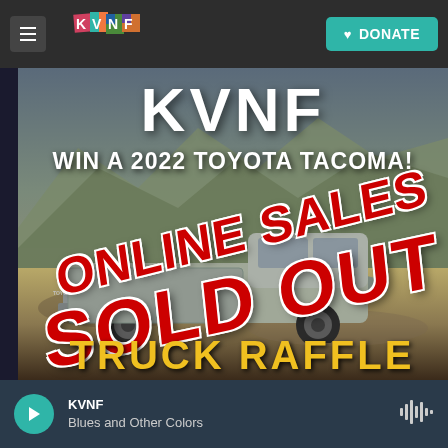KVNF — DONATE
[Figure (photo): KVNF truck raffle promotional image showing a 2022 Toyota Tacoma in a mountainous desert landscape with ONLINE SALES SOLD OUT overlay text and TRUCK RAFFLE text at the bottom]
KVNF — Blues and Other Colors